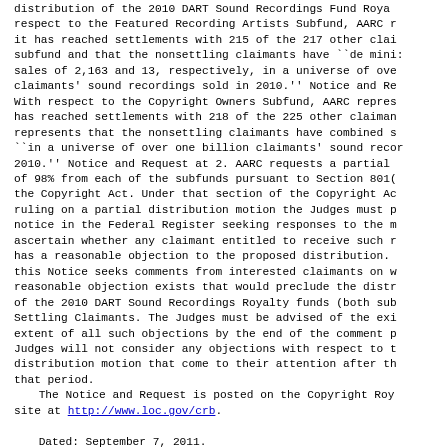distribution of the 2010 DART Sound Recordings Fund Royalty funds with respect to the Featured Recording Artists Subfund, AARC represents that it has reached settlements with 215 of the 217 other claimants in that subfund and that the nonsettling claimants have ``de minimis'' combined sales of 2,163 and 13, respectively, in a universe of over one billion claimants' sound recordings sold in 2010.'' Notice and Request at 1-2. With respect to the Copyright Owners Subfund, AARC represents that it has reached settlements with 218 of the 225 other claimants in and represents that the nonsettling claimants have combined sales ``in a universe of over one billion claimants' sound recordings sold in 2010.'' Notice and Request at 2. AARC requests a partial distribution of 98% from each of the subfunds pursuant to Section 801(b)(3) of the Copyright Act. Under that section of the Copyright Act, before ruling on a partial distribution motion the Judges must publish a notice in the Federal Register seeking responses to the motion to ascertain whether any claimant entitled to receive such royalties has a reasonable objection to the proposed distribution. Accordingly, this Notice seeks comments from interested claimants on whether a reasonable objection exists that would preclude the distribution of the 2010 DART Sound Recordings Royalty funds (both subfunds) to Settling Claimants. The Judges must be advised of the existence and extent of all such objections by the end of the comment period. The Judges will not consider any objections with respect to the partial distribution motion that come to their attention after the end of that period.
    The Notice and Request is posted on the Copyright Royalty Board site at http://www.loc.gov/crb.

    Dated: September 7, 2011.
James Scott Sledge,